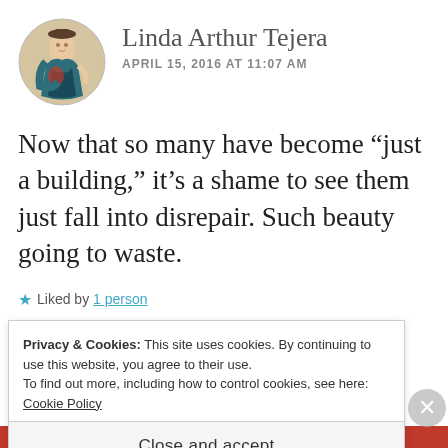[Figure (illustration): Circular avatar image of a vintage-style illustrated woman in a decorative dress]
Linda Arthur Tejera
APRIL 15, 2016 AT 11:07 AM
Now that so many have become “just a building,” it’s a shame to see them just fall into disrepair. Such beauty going to waste.
★ Liked by 1 person
Privacy & Cookies: This site uses cookies. By continuing to use this website, you agree to their use.
To find out more, including how to control cookies, see here: Cookie Policy
Close and accept